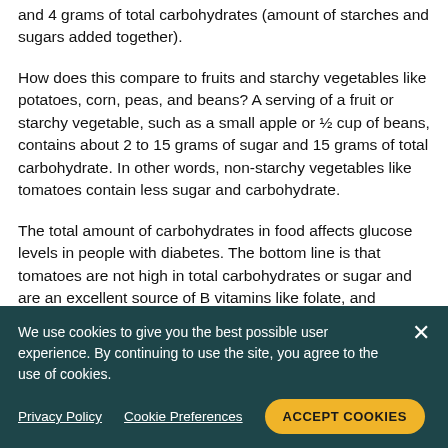and 4 grams of total carbohydrates (amount of starches and sugars added together).
How does this compare to fruits and starchy vegetables like potatoes, corn, peas, and beans? A serving of a fruit or starchy vegetable, such as a small apple or ½ cup of beans, contains about 2 to 15 grams of sugar and 15 grams of total carbohydrate. In other words, non-starchy vegetables like tomatoes contain less sugar and carbohydrate.
The total amount of carbohydrates in food affects glucose levels in people with diabetes. The bottom line is that tomatoes are not high in total carbohydrates or sugar and are an excellent source of B vitamins like folate, and vitamins A, C, E, and K. Non-starchy vegetables of all shapes, taste, and colors are a valuable part of meal
We use cookies to give you the best possible user experience. By continuing to use the site, you agree to the use of cookies.
Privacy Policy   Cookie Preferences   ACCEPT COOKIES